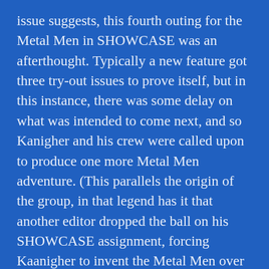issue suggests, this fourth outing for the Metal Men in SHOWCASE was an afterthought. Typically a new feature got three try-out issues to prove itself, but in this instance, there was some delay on what was intended to come next, and so Kanigher and his crew were called upon to produce one more Metal Men adventure. (This parallels the origin of the group, in that legend has it that another editor dropped the ball on his SHOWCASE assignment, forcing Kaanigher to invent the Metal Men over a weekend, and pull the entire first story together with Andru and Esposito in about two weeks.) But since continuity was extremely loosy-goosy in those days, it was no real problem to just come up with one more story–although this is the point at which Kanigher